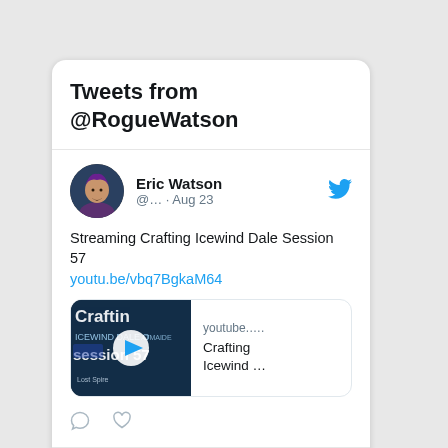Tweets from @RogueWatson
Eric Watson @… · Aug 23
Streaming Crafting Icewind Dale Session 57 youtu.be/vbq7BgkaM64
[Figure (screenshot): YouTube video thumbnail for Crafting Icewind Dale Session 57 with play button overlay, labeled youtube.... Crafting Icewind ...]
Eric Watson @… · Aug 20